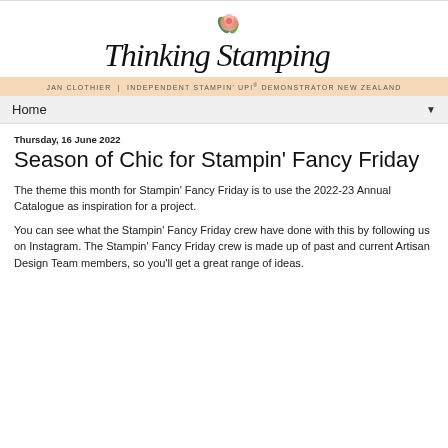[Figure (logo): Thinking Stamping blog logo with cursive text and a peach rose illustration above]
JAN CLOTHIER | INDEPENDENT STAMPIN' UP!® DEMONSTRATOR NEW ZEALAND
Home ▼
Thursday, 16 June 2022
Season of Chic for Stampin' Fancy Friday
The theme this month for Stampin' Fancy Friday is to use the 2022-23 Annual Catalogue as inspiration for a project.
You can see what the Stampin' Fancy Friday crew have done with this by following us on Instagram. The Stampin' Fancy Friday crew is made up of past and current Artisan Design Team members, so you'll get a great range of ideas.